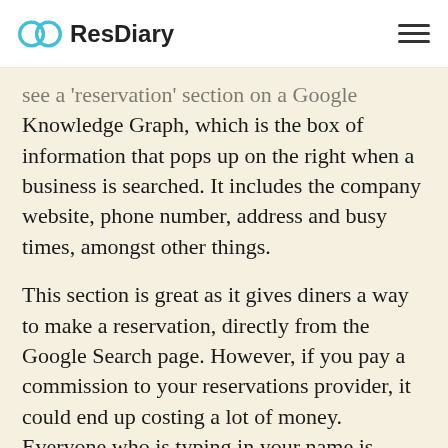ResDiary
see a 'reservation' section on a Google Knowledge Graph, which is the box of information that pops up on the right when a business is searched. It includes the company website, phone number, address and busy times, amongst other things.
This section is great as it gives diners a way to make a reservation, directly from the Google Search page. However, if you pay a commission to your reservations provider, it could end up costing a lot of money. Everyone who is typing in your name is being given a clear option to book on a third party portal which costs you money. If you